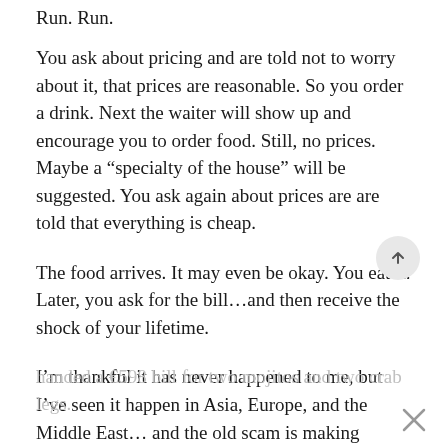Run. Run.
You ask about pricing and are told not to worry about it, that prices are reasonable. So you order a drink. Next the waiter will show up and encourage you to order food. Still, no prices. Maybe a “specialty of the house” will be suggested. You ask again about prices are are told that everything is cheap.
The food arrives. It may even be okay. You eat it. Later, you ask for the bill…and then receive the shock of your lifetime.
I’m thankful it has never happened to me, but I’ve seen it happen in Asia, Europe, and the Middle East… and the old scam is making headlines around the world after a mother and daughter in Mykonos were
handed a €598 bill for two mojitos and two crab legs.